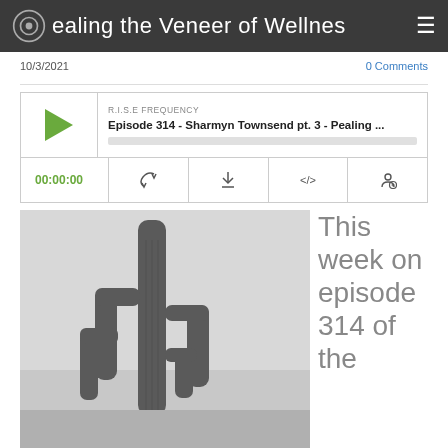Pealing the Veneer of Wellness
10/3/2021
0 Comments
[Figure (screenshot): Podcast player widget showing R.I.S.E FREQUENCY episode 314 - Sharmyn Townsend pt. 3 - Pealing ... with play button, time 00:00:00, and control icons]
[Figure (photo): Black and white photo of a tall saguaro cactus against a light overcast sky]
This week on episode 314 of the